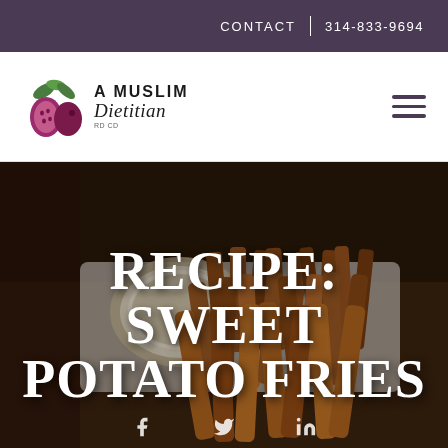CONTACT | 314-833-9694
[Figure (logo): A Muslim Dietitian logo with fig fruit illustration and text]
[Figure (photo): Sweet potato fries piled on a white plate with a bowl of dipping sauce in background, dark moody lighting]
RECIPE: SWEET POTATO FRIES